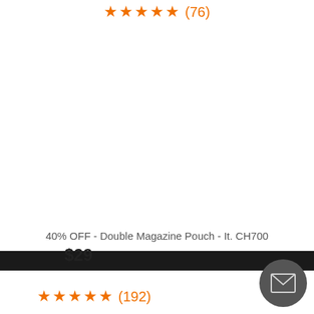★★★★★ (76)
40% OFF - Double Magazine Pouch - It. CH700
$29
★★★★★ (192)